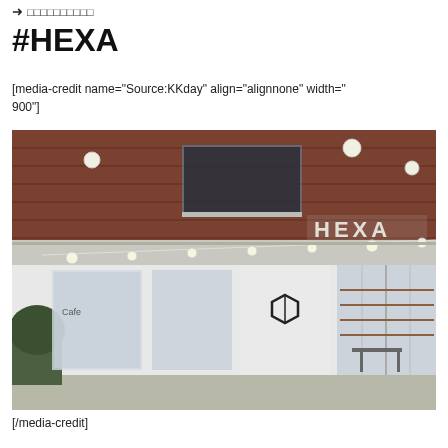→ □□□□□□□□□□
#HEXA
[media-credit name="Source:KKday" align="alignnone" width="900"]
[Figure (photo): Exterior photo of HEXA cafe with white facade, large glass windows, hanging globe lights, HEXA signage on brick building above]
[/media-credit]